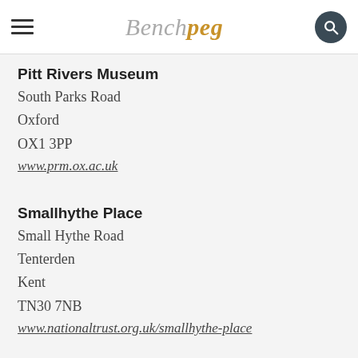Benchpeg
Pitt Rivers Museum
South Parks Road
Oxford
OX1 3PP
www.prm.ox.ac.uk
Smallhythe Place
Small Hythe Road
Tenterden
Kent
TN30 7NB
www.nationaltrust.org.uk/smallhythe-place